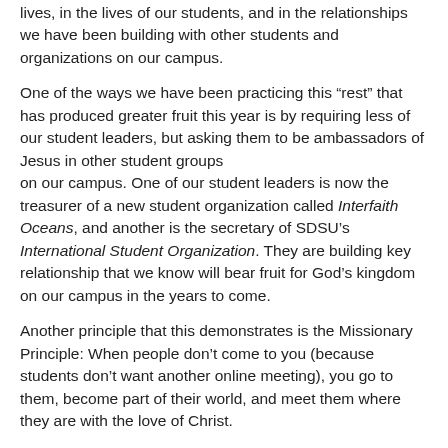lives, in the lives of our students, and in the relationships we have been building with other students and organizations on our campus.
One of the ways we have been practicing this “rest” that has produced greater fruit this year is by requiring less of our student leaders, but asking them to be ambassadors of Jesus in other student groups on our campus. One of our student leaders is now the treasurer of a new student organization called Interfaith Oceans, and another is the secretary of SDSU’s International Student Organization. They are building key relationship that we know will bear fruit for God’s kingdom on our campus in the years to come.
Another principle that this demonstrates is the Missionary Principle: When people don’t come to you (because students don’t want another online meeting), you go to them, become part of their world, and meet them where they are with the love of Christ.